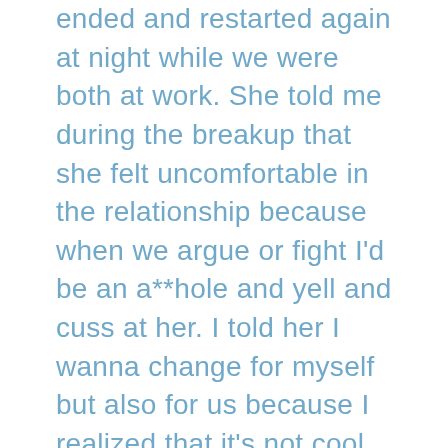ended and restarted again at night while we were both at work. She told me during the breakup that she felt uncomfortable in the relationship because when we argue or fight I'd be an a**hole and yell and cuss at her. I told her I wanna change for myself but also for us because I realized that it's not cool of me to be yelling over dumb things. She said she doesn't know if things will workout in the future between us but we will try again and as long we work on ourselves rn then only good things will come. Any advice would be helpful as this time for me is hard because we told each other we'd work through anything and that our relationship could go to hell and back and we'd still love each other. I know this is hell rn I just want things to workout again.